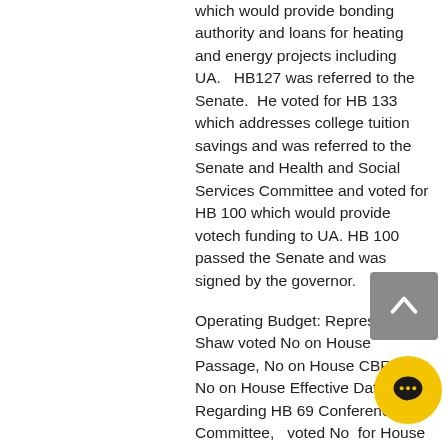which would provide bonding authority and loans for heating and energy projects including UA.   HB127 was referred to the Senate.  He voted for HB 133 which addresses college tuition savings and was referred to the Senate and Health and Social Services Committee and voted for HB 100 which would provide votech funding to UA. HB 100 passed the Senate and was signed by the governor.
Operating Budget: Representative Shaw voted No on House Passage, No on House CBR and No on House Effective Date.  Regarding HB 69 Conference Committee,   voted No  for House Adoption , No on House CBR, and No on Effective Date. voted YES on HCR2001 bring HB 69 back, YES on rescinding the failed effective date vote, YES on effective date.  Voted No on House passage and YES on the Conference Committee.